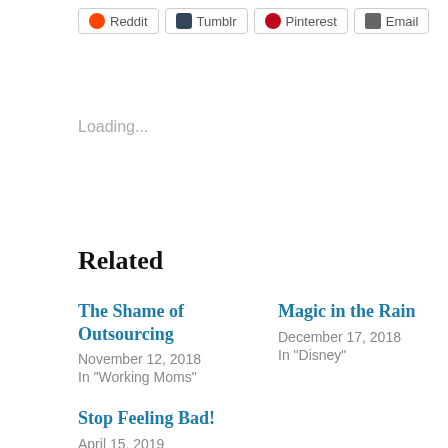[Figure (other): Social share buttons row: Reddit, Tumblr, Pinterest, Email]
Loading...
Related
The Shame of Outsourcing
November 12, 2018
In "Working Moms"
Magic in the Rain
December 17, 2018
In "Disney"
Stop Feeling Bad!
April 15, 2019
In "Working Moms"